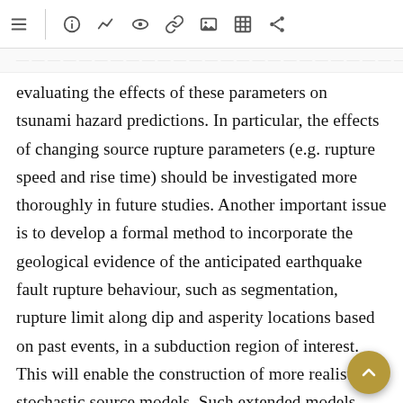[toolbar with navigation icons]
evaluating the effects of these parameters on tsunami hazard predictions. In particular, the effects of changing source rupture parameters (e.g. rupture speed and rise time) should be investigated more thoroughly in future studies. Another important issue is to develop a formal method to incorporate the geological evidence of the anticipated earthquake fault rupture behaviour, such as segmentation, rupture limit along dip and asperity locations based on past events, in a subduction region of interest. This will enable the construction of more realistic stochastic source models. Such extended models